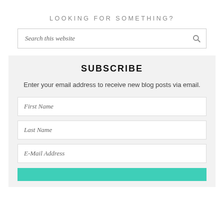LOOKING FOR SOMETHING?
Search this website
SUBSCRIBE
Enter your email address to receive new blog posts via email.
First Name
Last Name
E-Mail Address